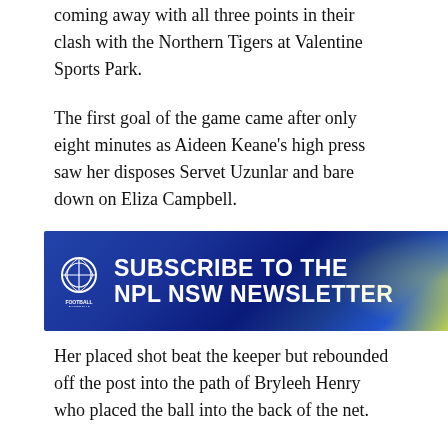coming away with all three points in their clash with the Northern Tigers at Valentine Sports Park.
The first goal of the game came after only eight minutes as Aideen Keane's high press saw her disposes Servet Uzunlar and bare down on Eliza Campbell.
[Figure (other): Subscribe to the NPL NSW Newsletter banner with Football Australia logo]
Her placed shot beat the keeper but rebounded off the post into the path of Bryleeh Henry who placed the ball into the back of the net.
The Tigers held most of the possession and tried to create something through Uzunlar on various occasions but the Young Institute side stood firm in defence.